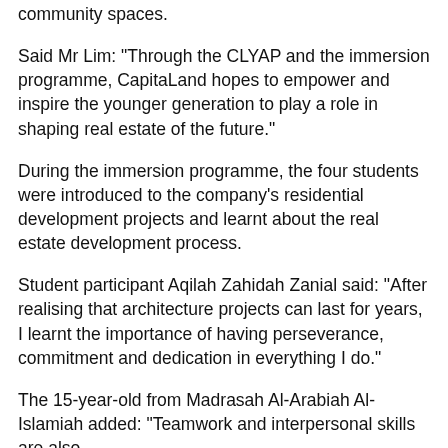community spaces.
Said Mr Lim: "Through the CLYAP and the immersion programme, CapitaLand hopes to empower and inspire the younger generation to play a role in shaping real estate of the future."
During the immersion programme, the four students were introduced to the company's residential development projects and learnt about the real estate development process.
Student participant Aqilah Zahidah Zanial said: "After realising that architecture projects can last for years, I learnt the importance of having perseverance, commitment and dedication in everything I do."
The 15-year-old from Madrasah Al-Arabiah Al-Islamiah added: "Teamwork and interpersonal skills are also